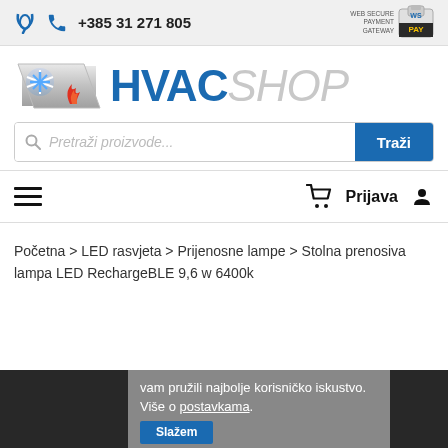+385 31 271 805 | WEB SECURE PAYMENT GATEWAY WSPAY
[Figure (logo): HVAC SHOP logo with snowflake and flame icons]
Pretraži proizvode... Traži
≡ (hamburger menu) | 🛒 Prijava 👤
Početna > LED rasvjeta > Prijenosne lampe > Stolna prenosiva lampa LED RechargeBLE 9,6 w 6400k
vam pružili najbolje korisničko iskustvo. Više o postavkama.